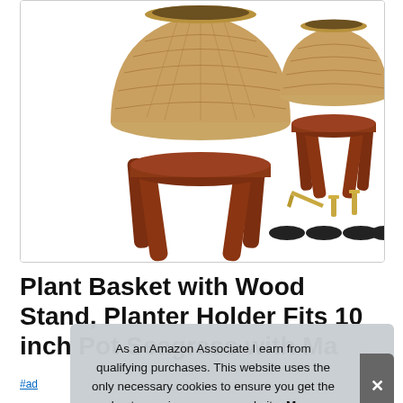[Figure (photo): Product photo showing two woven seagrass plant baskets on dark wood stands with four legs. Left basket is larger. Right side shows a disassembled view with hardware: screws, Allen wrench, and rubber pad feet.]
Plant Basket with Wood Stand, Planter Holder Fits 10 inch Pot Seagrass with Ma...
#ad
As an Amazon Associate I earn from qualifying purchases. This website uses the only necessary cookies to ensure you get the best experience on our website. More information